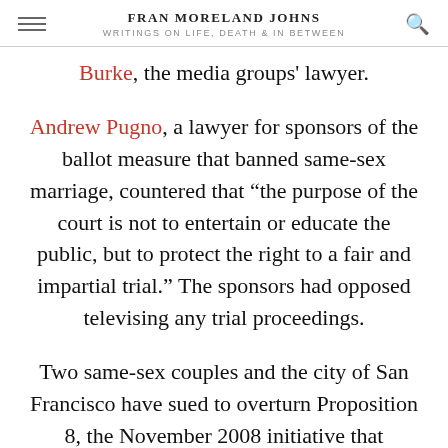FRAN MORELAND JOHNS
WRITINGS ON LIFE, DEATH & IN BETWEEN
Burke, the media groups' lawyer.
Andrew Pugno, a lawyer for sponsors of the ballot measure that banned same-sex marriage, countered that “the purpose of the court is not to entertain or educate the public, but to protect the right to a fair and impartial trial.” The sponsors had opposed televising any trial proceedings.
Two same-sex couples and the city of San Francisco have sued to overturn Proposition 8, the November 2008 initiative that amended the